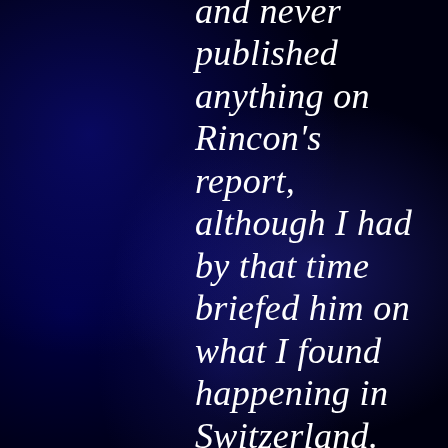and never published anything on Rincon's report, although I had by that time briefed him on what I found happening in Switzerland. He didn't believe me